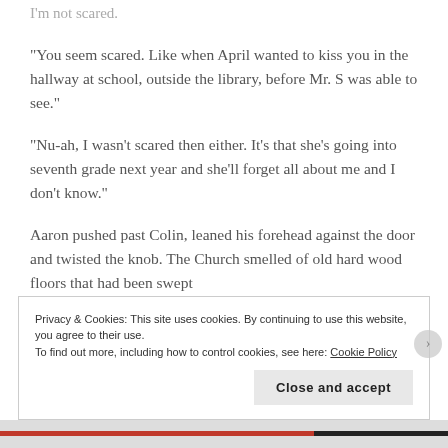“I’m not scared.
“You seem scared.  Like when April wanted to kiss you in the hallway at school, outside the library, before Mr. S was able to see.”
“Nu-ah, I wasn’t scared then either.  It’s that she’s going into seventh grade next year and she’ll forget all about me and I don’t know.”
Aaron pushed past Colin, leaned his forehead against the door and twisted the knob. The Church smelled of old hard wood floors that had been swept
Privacy & Cookies: This site uses cookies. By continuing to use this website, you agree to their use.
To find out more, including how to control cookies, see here: Cookie Policy
Close and accept